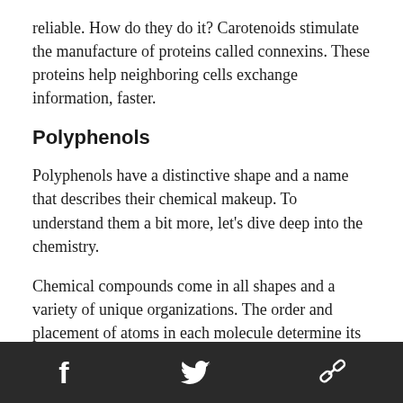reliable. How do they do it? Carotenoids stimulate the manufacture of proteins called connexins. These proteins help neighboring cells exchange information, faster.
Polyphenols
Polyphenols have a distinctive shape and a name that describes their chemical makeup. To understand them a bit more, let’s dive deep into the chemistry.
Chemical compounds come in all shapes and a variety of unique organizations. The order and placement of atoms in each molecule determine its function. Polyphenols are made primarily of
Facebook Twitter Link icons